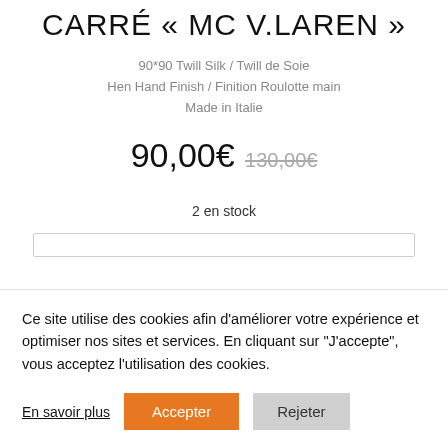CARRÉ « MC V.LAREN »
90*90 Twill Silk / Twill de Soie
Hen Hand Finish / Finition Roulotte main
Made in Italie
90,00€  130,00€
2 en stock
Ce site utilise des cookies afin d'améliorer votre expérience et optimiser nos sites et services. En cliquant sur "J'accepte", vous acceptez l'utilisation des cookies.
En savoir plus  Accepter  Rejeter